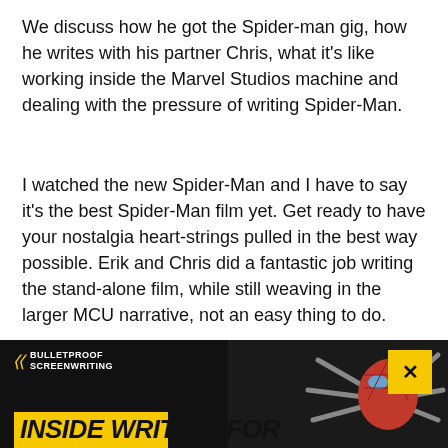We discuss how he got the Spider-man gig, how he writes with his partner Chris, what it's like working inside the Marvel Studios machine and dealing with the pressure of writing Spider-Man.
I watched the new Spider-Man and I have to say it's the best Spider-Man film yet. Get ready to have your nostalgia heart-strings pulled in the best way possible. Erik and Chris did a fantastic job writing the stand-alone film, while still weaving in the larger MCU narrative, not an easy thing to do.
Enjoy my conversation with Erik Sommers.
[Figure (other): Bulletproof Screenwriting banner image with Spider-Man figure and yellow 'INSIDE WRITING FOR' title text on dark background]